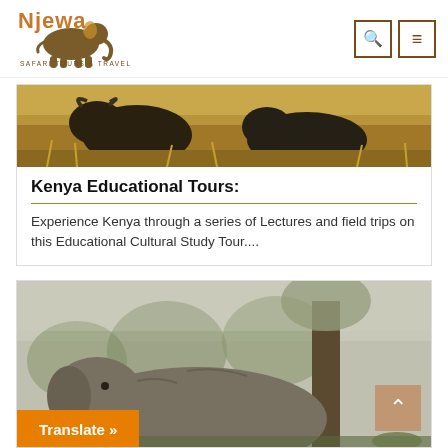[Figure (logo): Njewa Safari Tours & Travel Ltd logo with elephant silhouette and orange/brown text]
[Figure (photo): Safari animals (buffalo/cattle) in dry grassland, partial view at top of card]
Kenya Educational Tours:
Experience Kenya through a series of Lectures and field trips on this Educational Cultural Study Tour....
[Figure (photo): Elephant in misty savannah with trees in background]